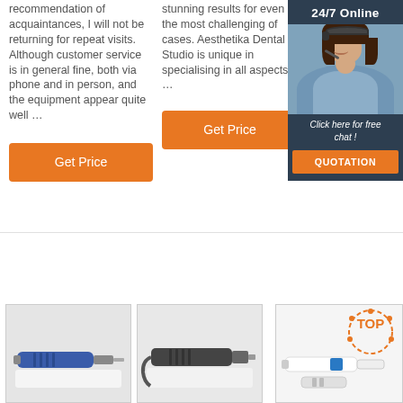recommendation of acquaintances, I will not be returning for repeat visits. Although customer service is in general fine, both via phone and in person, and the equipment appear quite well …
stunning results for even the most challenging of cases. Aesthetika Dental Studio is unique in specialising in all aspects …
359-2043.
[Figure (other): Orange 'Get Price' button (top right column)]
[Figure (other): Dark sidebar widget with '24/7 Online' header, woman with headset photo, 'Click here for free chat!' text, and orange QUOTATION button]
[Figure (other): Orange 'Get Price' button (middle column 2)]
[Figure (other): Orange 'Get Price' button (column 1 bottom)]
[Figure (photo): Product image: dental handpiece tool (blue) on white surface]
[Figure (photo): Product image: dental handpiece tool (dark/black) on white surface]
[Figure (photo): Product image: dental pen/handpiece with blue accent, with TOP logo overlay]